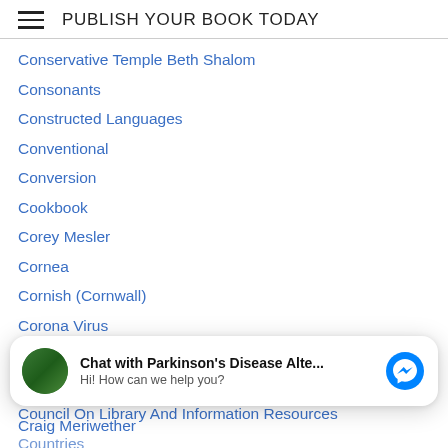PUBLISH YOUR BOOK TODAY
Conservative Temple Beth Shalom
Consonants
Constructed Languages
Conventional
Conversion
Cookbook
Corey Mesler
Cornea
Cornish (Cornwall)
Corona Virus
Corporate Brat
Cortex
Council On Library And Information Resources
Countries
Chat with Parkinson's Disease Alte...
Hi! How can we help you?
Craig Meriwether